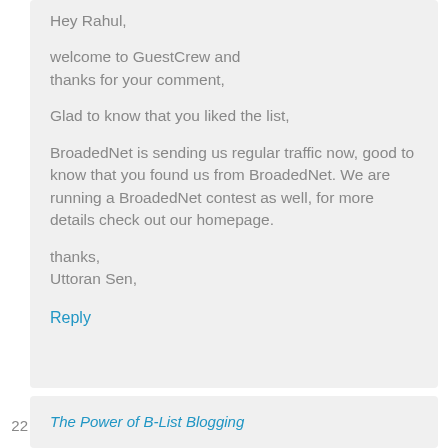Hey Rahul,
welcome to GuestCrew and thanks for your comment,
Glad to know that you liked the list,
BroadedNet is sending us regular traffic now, good to know that you found us from BroadedNet. We are running a BroadedNet contest as well, for more details check out our homepage.
thanks,
Uttoran Sen,
Reply
22
The Power of B-List Blogging